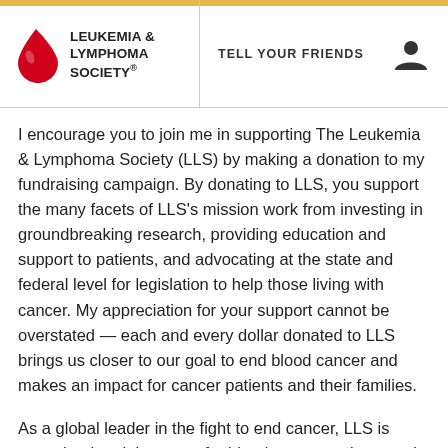LEUKEMIA & LYMPHOMA SOCIETY® | TELL YOUR FRIENDS
I encourage you to join me in supporting The Leukemia & Lymphoma Society (LLS) by making a donation to my fundraising campaign. By donating to LLS, you support the many facets of LLS's mission work from investing in groundbreaking research, providing education and support to patients, and advocating at the state and federal level for legislation to help those living with cancer. My appreciation for your support cannot be overstated — each and every dollar donated to LLS brings us closer to our goal to end blood cancer and makes an impact for cancer patients and their families.
As a global leader in the fight to end cancer, LLS is committed to doing more for blood cancer patients and families than any organization in the world. LLS's signature fundraising campaigns drive critical support for its mission, including a nearly $1.3 billion investment in cutting edge cancer research worldwide since it was founded in 1949. Since the 1960s